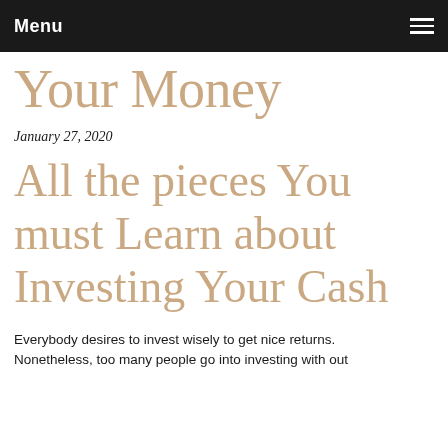Menu
Your Money
January 27, 2020
All the pieces You must Learn about Investing Your Cash
Everybody desires to invest wisely to get nice returns. Nonetheless, too many people go into investing with out